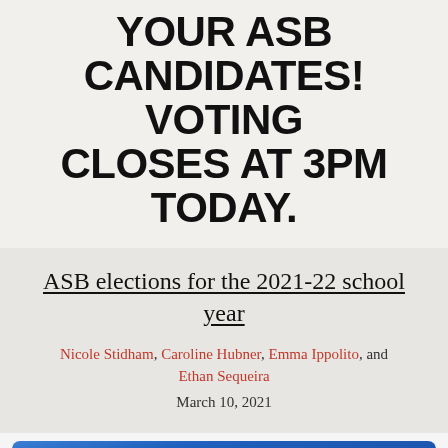YOUR ASB CANDIDATES! VOTING CLOSES AT 3PM TODAY.
ASB elections for the 2021-22 school year
Nicole Stidham, Caroline Hubner, Emma Ippolito, and Ethan Sequeira
March 10, 2021
[Figure (illustration): Blue banner graphic with large white bold text reading 'ASB', a checkbox icon with a checkmark in the center, horizontal lines on either side, and partial text 'ELECTIONS' at the bottom.]